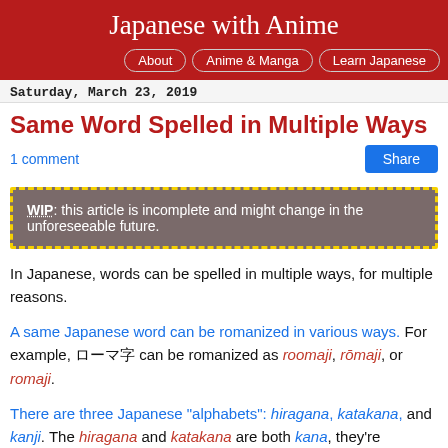Japanese with Anime
About | Anime & Manga | Learn Japanese
Saturday, March 23, 2019
Same Word Spelled in Multiple Ways
1 comment
WIP: this article is incomplete and might change in the unforeseeable future.
In Japanese, words can be spelled in multiple ways, for multiple reasons.
A same Japanese word can be romanized in various ways. For example, ローマ字 can be romanized as roomaji, rōmaji, or romaji.
There are three Japanese "alphabets": hiragana, katakana, and kanji. The hiragana and katakana are both kana, they're interchangeable, like lower-case letters and UPPER-CASE